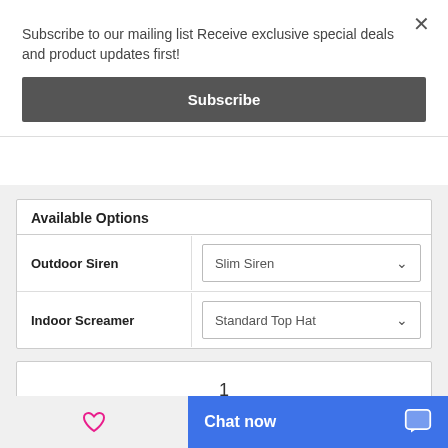Subscribe to our mailing list Receive exclusive special deals and product updates first!
Subscribe
Available Options
Outdoor Siren
Slim Siren
Indoor Screamer
Standard Top Hat
1
Add to Cart
Chat now